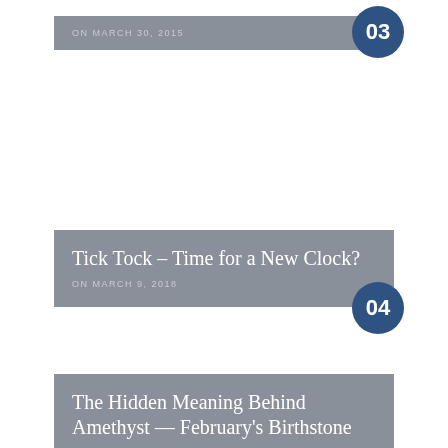ON MARCH 30, 2015
03
Tick Tock – Time for a New Clock?
ON MARCH 9, 2018
04
The Hidden Meaning Behind Amethyst — February's Birthstone